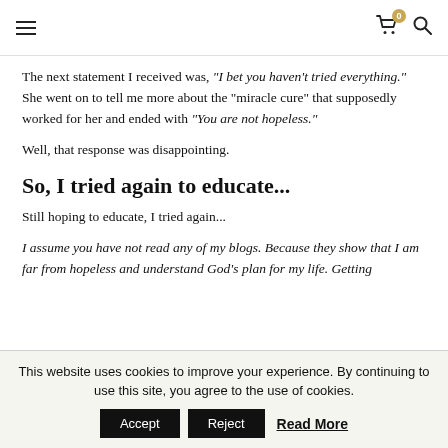[hamburger menu] [cart icon with badge 0] [search icon]
The next statement I received was, "I bet you haven't tried everything."  She went on to tell me more about the "miracle cure" that supposedly worked for her and ended with "You are not hopeless."
Well, that response was disappointing.
So, I tried again to educate...
Still hoping to educate, I tried again...
I assume you have not read any of my blogs.  Because they show that I am far from hopeless and understand God's plan for my life.  Getting
This website uses cookies to improve your experience. By continuing to use this site, you agree to the use of cookies.
Accept  Reject  Read More